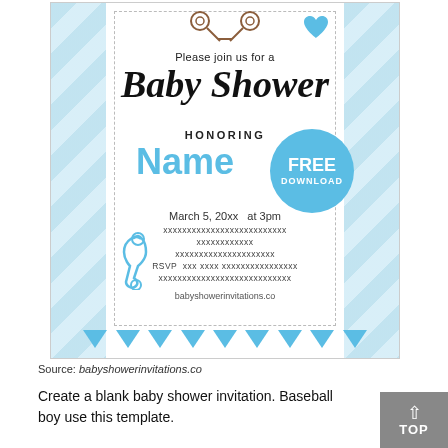[Figure (illustration): Baby shower invitation card with blue argyle border, rattle icons, blue heart, script text 'Baby Shower', name placeholder, free download circle badge, safety pin illustration, and triangles banner at bottom]
Source: babyshowerinvitations.co
Create a blank baby shower invitation. Baseball boy use this template.